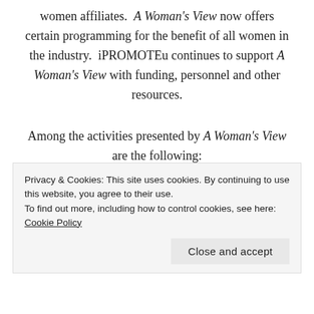women affiliates. A Woman's View now offers certain programming for the benefit of all women in the industry. iPROMOTEu continues to support A Woman's View with funding, personnel and other resources.
Among the activities presented by A Woman's View are the following:
Events and gatherings at industry trade shows
Monthly webinar presentations –
Privacy & Cookies: This site uses cookies. By continuing to use this website, you agree to their use. To find out more, including how to control cookies, see here: Cookie Policy
Close and accept